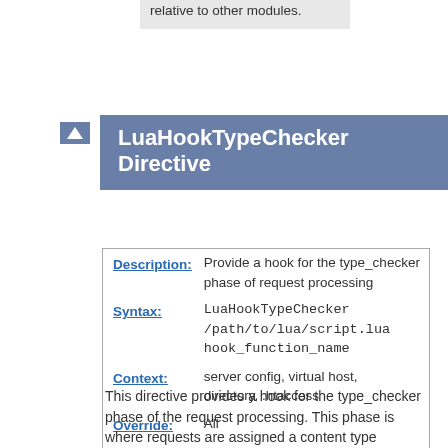relative to other modules.
LuaHookTypeChecker Directive
| Field | Value |
| --- | --- |
| Description: | Provide a hook for the type_checker phase of request processing |
| Syntax: | LuaHookTypeChecker /path/to/lua/script.lua hook_function_name |
| Context: | server config, virtual host, directory, .htaccess |
| Override: | All |
| Status: | Extension |
| Module: | mod_lua |
This directive provides a hook for the type_checker phase of the request processing. This phase is where requests are assigned a content type